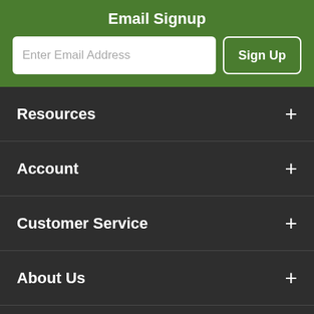Email Signup
Enter Email Address
Sign Up
Resources
Account
Customer Service
About Us
Contact Us
Ple...